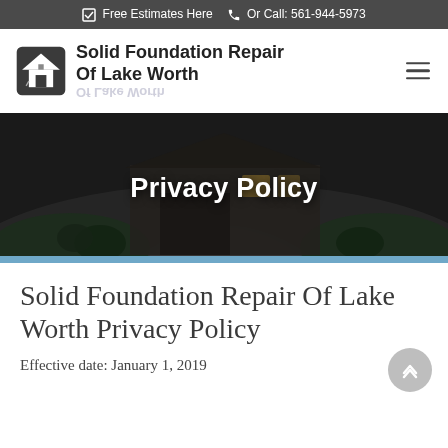Free Estimates Here  Or Call: 561-944-5973
[Figure (logo): Solid Foundation Repair Of Lake Worth logo with house icon and bold text]
[Figure (photo): Hero image of a residential home driveway at dusk with overlay text 'Privacy Policy' and blue stripe at bottom]
Solid Foundation Repair Of Lake Worth Privacy Policy
Effective date: January 1, 2019